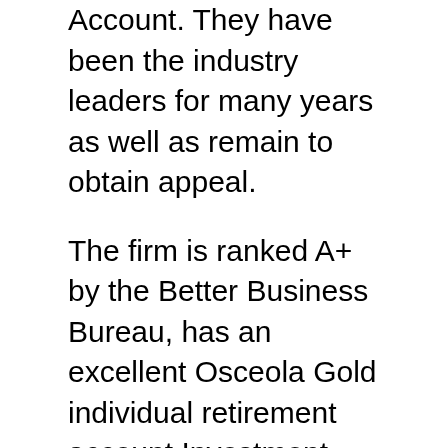Account. They have been the industry leaders for many years as well as remain to obtain appeal.
The firm is ranked A+ by the Better Business Bureau, has an excellent Osceola Gold individual retirement account Investment review as well as takes pleasure in a Triple-A rating from Service Consumer Alliance. These rankings are based on excellence in ethical service practices, customer evaluations, stability, and also consumer support.
If you are seeking to get precious metals such as coins or bullions, their experienced group takes you via each action of the procedure to make it easy for you to grow